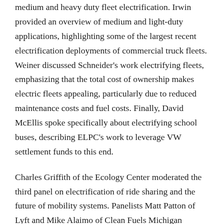medium and heavy duty fleet electrification. Irwin provided an overview of medium and light-duty applications, highlighting some of the largest recent electrification deployments of commercial truck fleets. Weiner discussed Schneider's work electrifying fleets, emphasizing that the total cost of ownership makes electric fleets appealing, particularly due to reduced maintenance costs and fuel costs. Finally, David McEllis spoke specifically about electrifying school buses, describing ELPC's work to leverage VW settlement funds to this end.
Charles Griffith of the Ecology Center moderated the third panel on electrification of ride sharing and the future of mobility systems. Panelists Matt Patton of Lyft and Mike Alaimo of Clean Fuels Michigan provided an overview of the ride-sharing landscape. Patton emphasized the environmental and logistical benefits of ride-sharing while Alaimo suggested that cities pursuing electrification can help encourage ride-sharing services